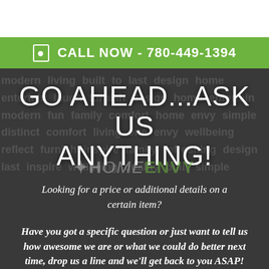CALL NOW - 780-449-1394
GO AHEAD...ASK US ANYTHING!
Looking for a price or additional details on a certain item?
Have you got a specific question or just want to tell us how awesome we are or what we could do better next time, drop us a line and we'll get back to you ASAP!